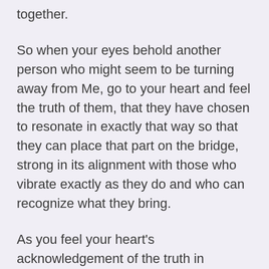together.
So when your eyes behold another person who might seem to be turning away from Me, go to your heart and feel the truth of them, that they have chosen to resonate in exactly that way so that they can place that part on the bridge, strong in its alignment with those who vibrate exactly as they do and who can recognize what they bring.
As you feel your heart's acknowledgement of the truth in honoring each and every person as a gift of service to Love, you will find that even the judgments of the egoic mind will fade. They will bend their knee to the truth that only Love is Real. Whatever the disguise, whatever